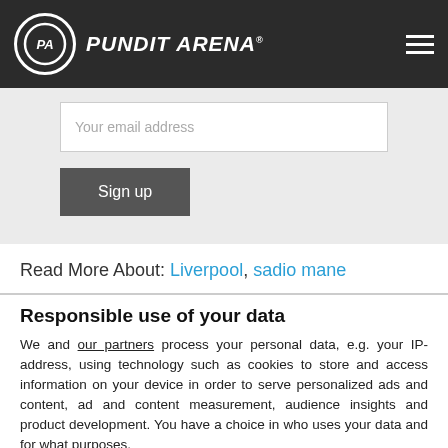PUNDIT ARENA
[Figure (screenshot): Email sign-up form with 'Your email address' input field and 'Sign up' button on grey background]
Read More About: Liverpool, sadio mane
Responsible use of your data
We and our partners process your personal data, e.g. your IP-address, using technology such as cookies to store and access information on your device in order to serve personalized ads and content, ad and content measurement, audience insights and product development. You have a choice in who uses your data and for what purposes.
If you allow, we would also like to:
Collect information about your geographical location which can be accurate to within several meters
Identify your device by actively scanning it for specific characteristics